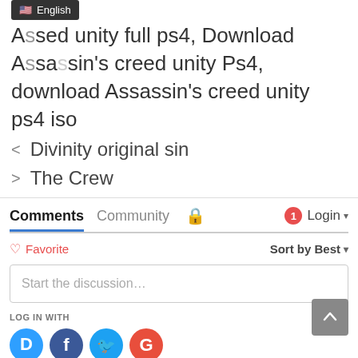[Figure (screenshot): English language badge with US flag emoji]
Assassin's creed unity full ps4, Download Assassin's creed unity Ps4, download Assassin's creed unity ps4 iso
< Divinity original sin
> The Crew
Comments  Community  [lock icon]  [1] Login
♡ Favorite    Sort by Best
Start the discussion…
LOG IN WITH
[Figure (logo): Social login icons: Disqus (D), Facebook (f), Twitter bird, Google (G)]
OR SIGN UP WITH DISQUS (?)